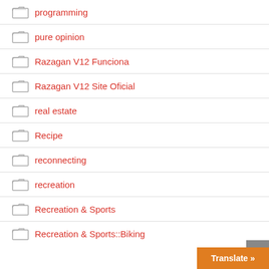programming
pure opinion
Razagan V12 Funciona
Razagan V12 Site Oficial
real estate
Recipe
reconnecting
recreation
Recreation & Sports
Recreation & Sports::Biking